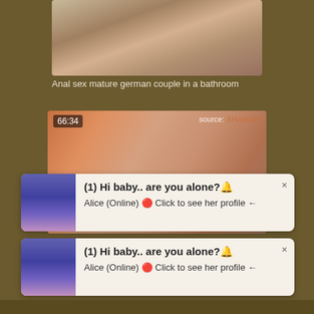[Figure (photo): Video thumbnail showing a blonde woman, close-up shot]
Anal sex mature german couple in a bathroom
[Figure (photo): Video thumbnail showing a woman, duration 66:34, source XHamster]
[Figure (other): Popup notification card 1: (1) Hi baby.. are you alone? Alice (Online) Click to see her profile]
[Figure (other): Popup notification card 2: (1) Hi baby.. are you alone? Alice (Online) Click to see her profile]